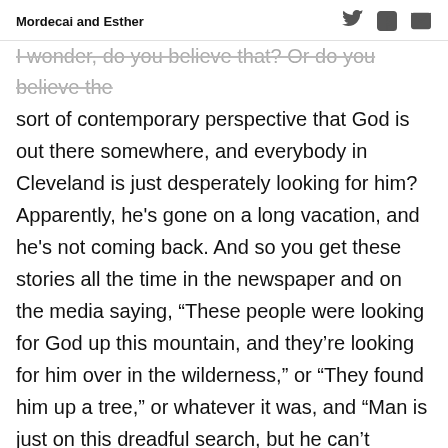Mordecai and Esther
I wonder, do you believe that? Or do you believe the sort of contemporary perspective that God is out there somewhere, and everybody in Cleveland is just desperately looking for him? Apparently, he's gone on a long vacation, and he's not coming back. And so you get these stories all the time in the newspaper and on the media saying, “These people were looking for God up this mountain, and they’re looking for him over in the wilderness,” or “They found him up a tree,” or whatever it was, and “Man is just on this dreadful search, but he can’t possibly be found.” Yet no, you read your Bible, you find it’s the exact opposite. You’ve come along to Parkside